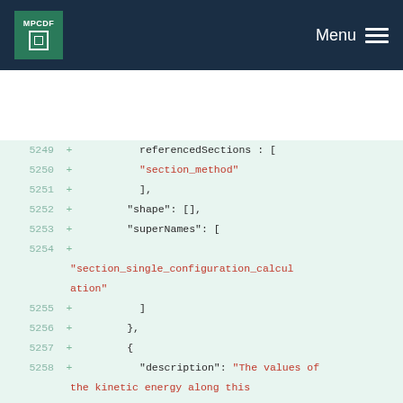MPCDF Menu
5249 + referencedSections : [
5250 + "section_method"
5251 + ],
5252 + "shape": [],
5253 + "superNames": [
5254 + "section_single_configuration_calculation"
5255 + ]
5256 + },
5257 + {
5258 + "description": "The values of the kinetic energy along this frame. If not all frames have a value the indices of the frames that have a value are stored in frame_sequence_kinetic_energy_frames."
5259 + "dtypeStr": "f",
5260 + "name": "kinetic_energy",
5261 + "shape": []